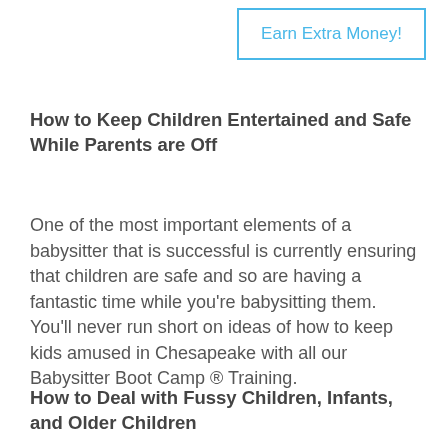Earn Extra Money!
How to Keep Children Entertained and Safe While Parents are Off
One of the most important elements of a babysitter that is successful is currently ensuring that children are safe and so are having a fantastic time while you’re babysitting them. You’ll never run short on ideas of how to keep kids amused in Chesapeake with all our Babysitter Boot Camp ® Training.
How to Deal with Fussy Children, Infants, and Older Children